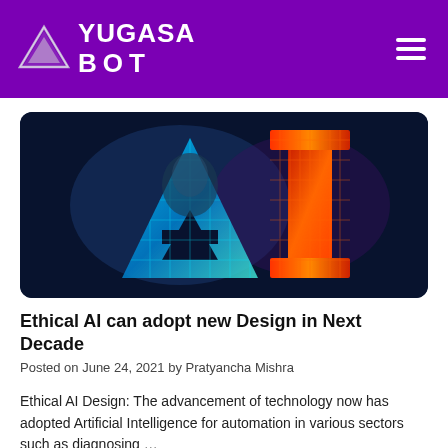YUGASA BOT
[Figure (illustration): Stylized glowing 'AI' letters in blue and red/orange tones on a dark navy background, representing Artificial Intelligence]
Ethical AI can adopt new Design in Next Decade
Posted on June 24, 2021 by Pratyancha Mishra
Ethical AI Design: The advancement of technology now has adopted Artificial Intelligence for automation in various sectors such as diagnosing …